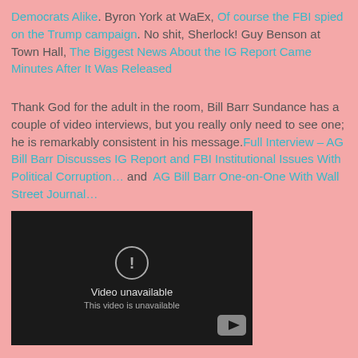Democrats Alike. Byron York at WaEx, Of course the FBI spied on the Trump campaign. No shit, Sherlock! Guy Benson at Town Hall, The Biggest News About the IG Report Came Minutes After It Was Released
Thank God for the adult in the room, Bill Barr Sundance has a couple of video interviews, but you really only need to see one; he is remarkably consistent in his message. Full Interview – AG Bill Barr Discusses IG Report and FBI Institutional Issues With Political Corruption… and AG Bill Barr One-on-One With Wall Street Journal…
[Figure (screenshot): Embedded YouTube video player showing 'Video unavailable - This video is unavailable' message on a dark background with YouTube logo in bottom right corner.]